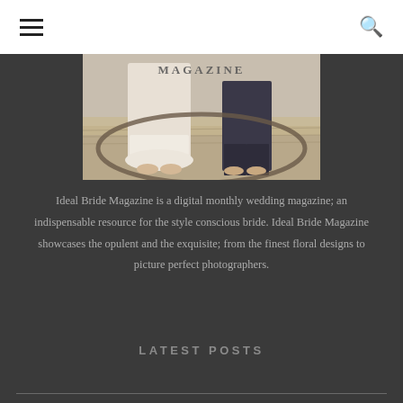Navigation header with hamburger menu and search icon
[Figure (photo): Wedding photo showing lower half of bridal couple standing together, text 'MAGAZINE' visible at top]
Ideal Bride Magazine is a digital monthly wedding magazine; an indispensable resource for the style conscious bride. Ideal Bride Magazine showcases the opulent and the exquisite; from the finest floral designs to picture perfect photographers.
LATEST POSTS